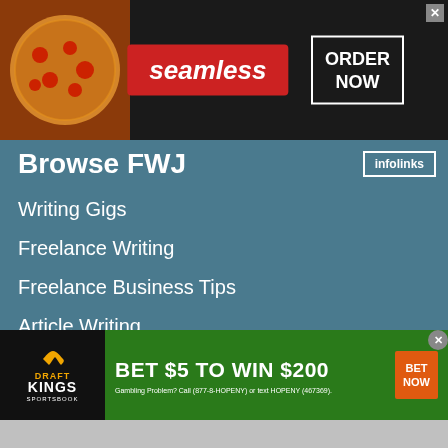[Figure (infographic): Seamless food delivery advertisement banner with pizza image, red Seamless badge, and ORDER NOW button on dark background]
Browse FWJ
Writing Gigs
Freelance Writing
Freelance Business Tips
Article Writing
Writing Tips
Writing Resources
[Figure (infographic): DraftKings Sportsbook advertisement: BET $5 TO WIN $200, BET NOW button, Gambling Problem? Call (877-8-HOPENY) or text HOPENY (467369).]